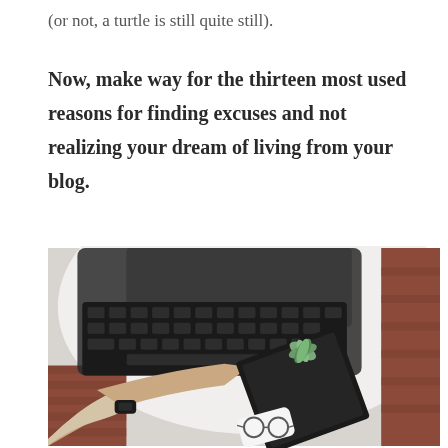(or not, a turtle is still quite still).
Now, make way for the thirteen most used reasons for finding excuses and not realizing your dream of living from your blog.
[Figure (photo): Overhead view of a person typing on a laptop computer on a round white table, with a plant, notebook, glasses, and phone visible beside the laptop.]